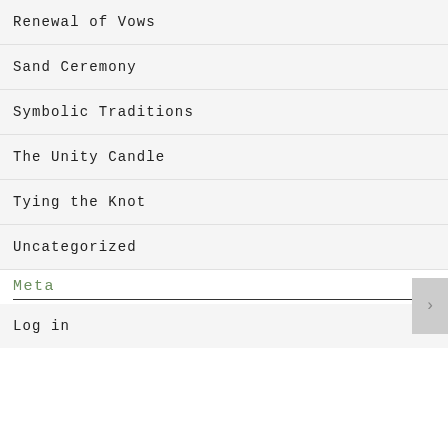Renewal of Vows
Sand Ceremony
Symbolic Traditions
The Unity Candle
Tying the Knot
Uncategorized
Meta
Log in